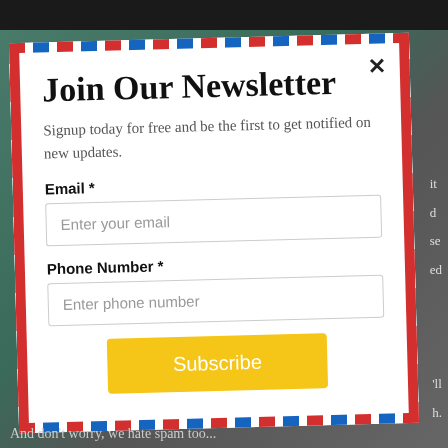[Figure (screenshot): Newsletter signup modal popup overlaid on a website. The modal has an airmail-style border (red and blue diagonal stripes). Contains title 'Join Our Newsletter', subtitle text, email and phone number input fields, and a yellow Subscribe button.]
Join Our Newsletter
Signup today for free and be the first to get notified on new updates.
Email *
Enter your email
Phone Number *
Enter phone number
Subscribe
And don't worry, we hate spam too...